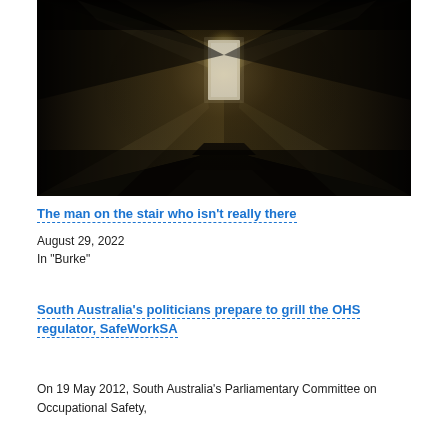[Figure (photo): Dark hallway/staircase with a bright glowing door at the end, viewed from below looking up, creating a dramatic moody atmosphere.]
The man on the stair who isn't really there
August 29, 2022
In "Burke"
South Australia's politicians prepare to grill the OHS regulator, SafeWorkSA
On 19 May 2012, South Australia's Parliamentary Committee on Occupational Safety,